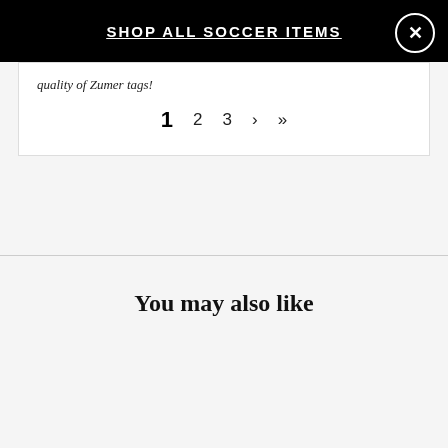SHOP ALL SOCCER ITEMS
quality of Zumer tags!
1  2  3  ›  »
You may also like